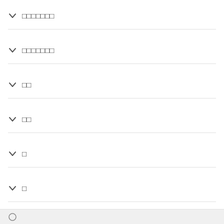▾ ▉▉▉▉▉▉▉
▾ ▉▉▉▉▉▉▉
▾ ▉▉
▾ ▉▉
▾ ▉
▾ ▉